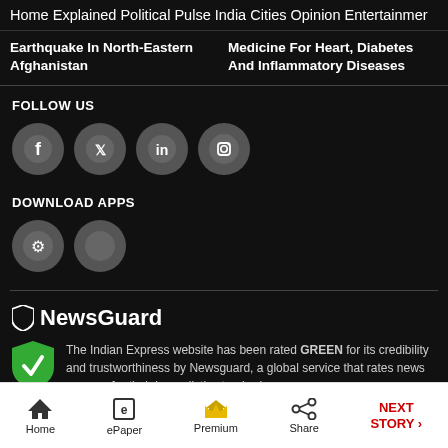Home  Explained  Political Pulse  India  Cities  Opinion  Entertainment
Earthquake In North-Eastern Afghanistan
Medicine For Heart, Diabetes And Inflammatory Diseases
FOLLOW US
[Figure (infographic): Social media icons: Facebook, Twitter, LinkedIn, Instagram]
DOWNLOAD APPS
[Figure (infographic): App download icons: Android and iOS]
[Figure (logo): NewsGuard logo with shield icon]
The Indian Express website has been rated GREEN for its credibility and trustworthiness by Newsguard, a global service that rates news sources for their journalistic standards.
Home  ePaper  Premium  Share  NEXT STORY